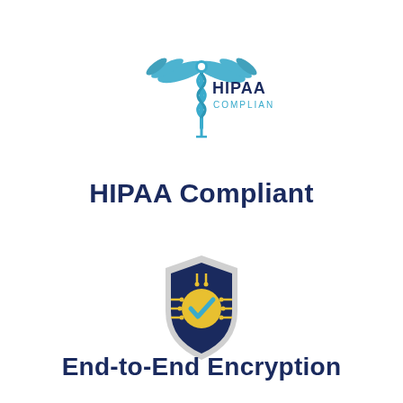[Figure (logo): HIPAA Compliant logo: caduceus symbol in blue with wings, and 'HIPAA COMPLIANT' text in blue]
HIPAA Compliant
[Figure (illustration): Security shield icon: dark navy blue shield with yellow circuit-line decorations and a yellow circle containing a blue checkmark in the center, light gray outer shield border]
End-to-End Encryption